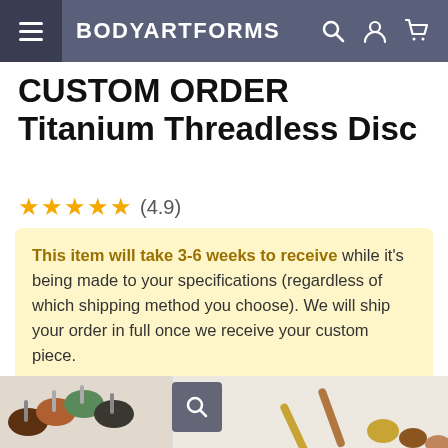BODYARTFORMS
CUSTOM ORDER Titanium Threadless Disc
★★★★★ (4.9)
This item will take 3-6 weeks to receive while it's being made to your specifications (regardless of which shipping method you choose). We will ship your order in full once we receive your custom piece.
[Figure (photo): Thumbnail images of titanium threadless disc jewelry pieces in various colors including brown, copper, green, and dark tones, with a magnify button overlay]
[Figure (photo): Main product image showing metallic rods/pins with disc ends in gold and brown tones against light background]